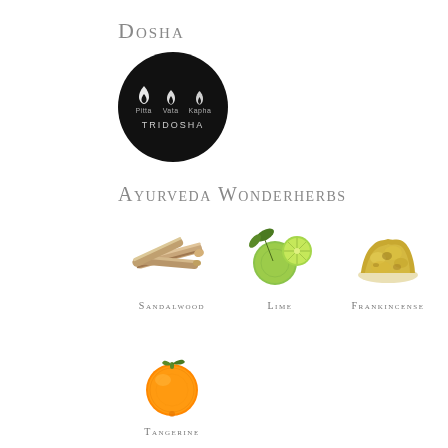Dosha
[Figure (illustration): Black circular badge with three flame icons and labels (Pitta, Vata, Kapha) and the word TRIDOSHA]
Ayurveda Wonderherbs
[Figure (photo): Photo of sandalwood sticks]
Sandalwood
[Figure (photo): Photo of lime fruits with leaves]
Lime
[Figure (photo): Photo of frankincense resin pieces]
Frankincense
[Figure (photo): Photo of a tangerine/orange fruit with leaf]
Tangerine